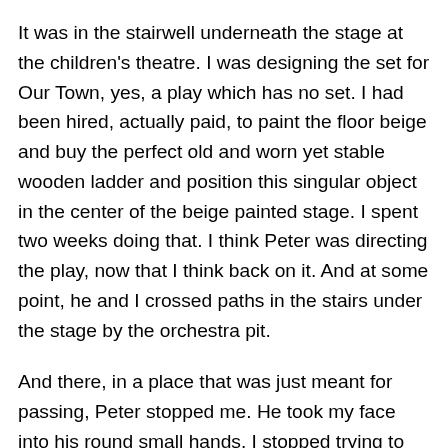It was in the stairwell underneath the stage at the children's theatre. I was designing the set for Our Town, yes, a play which has no set. I had been hired, actually paid, to paint the floor beige and buy the perfect old and worn yet stable wooden ladder and position this singular object in the center of the beige painted stage. I spent two weeks doing that. I think Peter was directing the play, now that I think back on it. And at some point, he and I crossed paths in the stairs under the stage by the orchestra pit.
And there, in a place that was just meant for passing, Peter stopped me. He took my face into his round small hands. I stopped trying to speak. He pulled me into him like a big brother, favorite math teacher, and prince charming combined into one short, doughy, alcoholic, funny joke-mate. And then right then, unprompted, in the middle of just another day, he